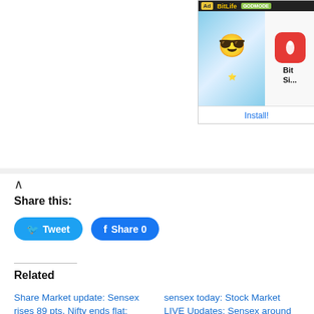[Figure (other): Advertisement banner for BitLife game showing a cartoon character and app icon with Install button]
Share this:
Tweet  Share 0
Related
Share Market update: Sensex rises 89 pts, Nifty ends flat; UltraTech Cements, ICICI Bank top gainers
August 6, 2022
In "Markets"
sensex today: Stock Market LIVE Updates: Sensex around 58,000, Nifty below 17,300; FMGC shines; IT, Metal drag; Tata Steel drops 2%, Zomato, Kansai Nerolac jump 18%
August 2, 2022
In "Markets"